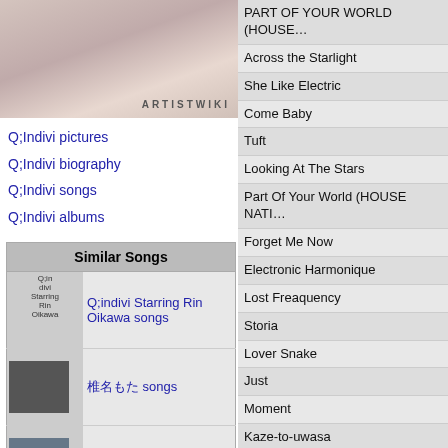[Figure (photo): Artist photo with ARTISTWIKI watermark]
Q;Indivi pictures
Q;Indivi biography
Q;Indivi songs
Q;Indivi albums
| Similar Songs |
| --- |
| Q;indivi Starring Rin Oikawa | Q;indivi Starring Rin Oikawa songs |
| [image] | 椎名もた songs |
| [image] | sound around songs |
| [image] | I-Dep songs |
| MEG × Q;indivi | MEG × Q;indivi songs |
| [image] | DAISHI DANCE songs |
Across the Starlight
She Like Electric
Come Baby
Tuft
Looking At The Stars
Part Of Your World (HOUSE NATI…
Forget Me Now
Electronic Harmonique
Lost Freaquency
Storia
Lover Snake
Just
Moment
Kaze-to-uwasa
Cascade
Love You (Shiho Fujisawa Remix)
Starting Over (Acoustic Ver.)
Understand
Voices (Q;indivi House Remix)
Part of Your World (Eshericks Dee…